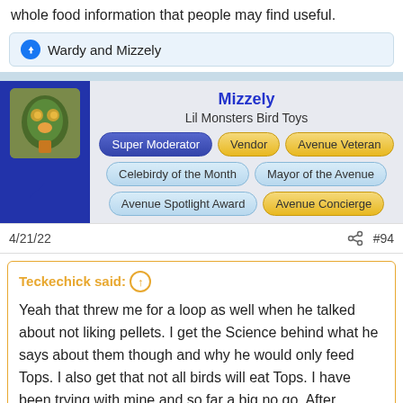whole food information that people may find useful.
Wardy and Mizzely
[Figure (screenshot): Profile card for user Mizzely from Lil Monsters Bird Toys with badges: Super Moderator, Vendor, Avenue Veteran, Celebirdy of the Month, Mayor of the Avenue, Avenue Spotlight Award, Avenue Concierge]
4/21/22  #94
Teckechick said: ↑
Yeah that threw me for a loop as well when he talked about not liking pellets. I get the Science behind what he says about them though and why he would only feed Tops. I also get that not all birds will eat Tops. I have been trying with mine and so far a big no go. After listening to him talk about being called in to give lectures to avian vet students and them not being taught about